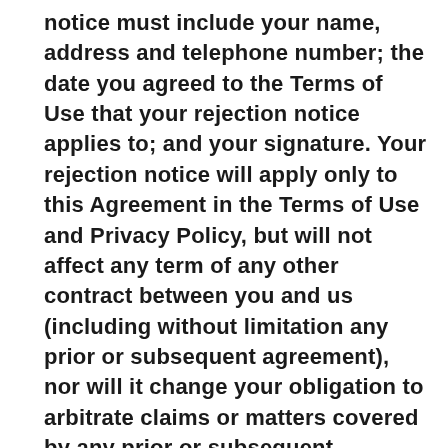notice must include your name, address and telephone number; the date you agreed to the Terms of Use that your rejection notice applies to; and your signature. Your rejection notice will apply only to this Agreement in the Terms of Use and Privacy Policy, but will not affect any term of any other contract between you and us (including without limitation any prior or subsequent agreement), nor will it change your obligation to arbitrate claims or matters covered by any prior or subsequent agreement to arbitrate, including each agreement to arbitrate that arises pursuant to the Terms of Use on the Company's website which is not the subject of a valid rejection notice.